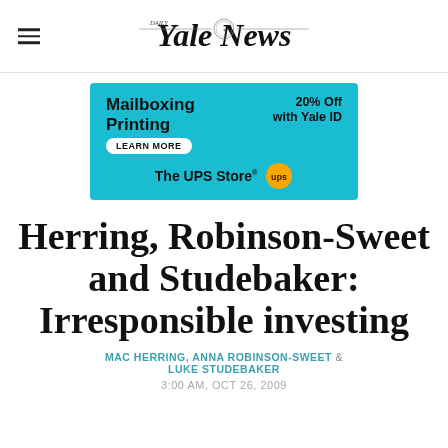Yale Daily News
[Figure (other): UPS Store advertisement banner: Mailboxing Printing, 20% Off with Yale ID, Learn More button, The UPS Store logo]
Herring, Robinson-Sweet and Studebaker: Irresponsible investing
MAC HERRING, ANNA ROBINSON-SWEET & LUKE STUDEBAKER
3:00 AM, OCT 26, 2009